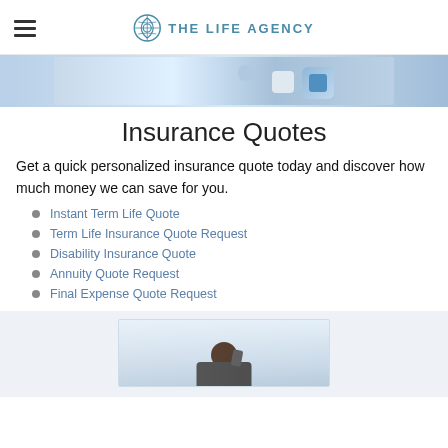THE LIFE AGENCY
[Figure (photo): Banner image showing mobile devices and apps with blue tones]
Insurance Quotes
Get a quick personalized insurance quote today and discover how much money we can save for you.
Instant Term Life Quote
Term Life Insurance Quote Request
Disability Insurance Quote
Annuity Quote Request
Final Expense Quote Request
[Figure (photo): Woman talking on phone, customer service representative]